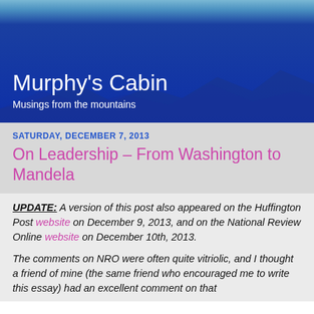[Figure (illustration): Blog header with blue gradient background and mountain silhouette landscape image]
Murphy's Cabin
Musings from the mountains
SATURDAY, DECEMBER 7, 2013
On Leadership – From Washington to Mandela
UPDATE: A version of this post also appeared on the Huffington Post website on December 9, 2013, and on the National Review Online website on December 10th, 2013.
The comments on NRO were often quite vitriolic, and I thought a friend of mine (the same friend who encouraged me to write this essay) had an excellent comment on that